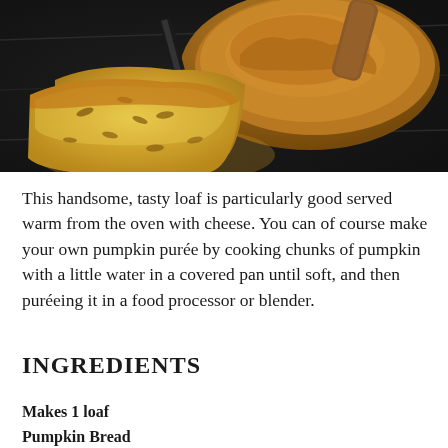[Figure (photo): A sliced pumpkin bread loaf on a dark slate board with a wooden-handled knife. Two slices of golden-yellow bread with seeds are visible in the foreground.]
This handsome, tasty loaf is particularly good served warm from the oven with cheese. You can of course make your own pumpkin purée by cooking chunks of pumpkin with a little water in a covered pan until soft, and then puréeing it in a food processor or blender.
INGREDIENTS
Makes 1 loaf
Pumpkin Bread